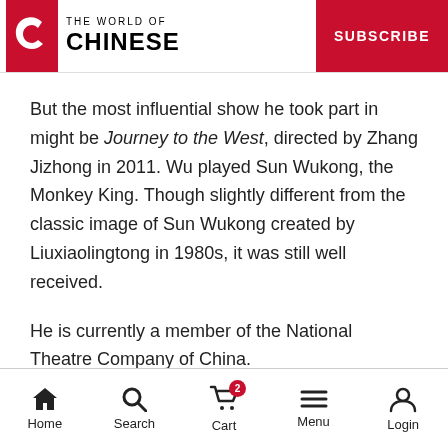THE WORLD OF CHINESE | SUBSCRIBE
But the most influential show he took part in might be Journey to the West, directed by Zhang Jizhong in 2011. Wu played Sun Wukong, the Monkey King. Though slightly different from the classic image of Sun Wukong created by Liuxiaolingtong in 1980s, it was still well received.
He is currently a member of the National Theatre Company of China.
Home | Search | Cart | Menu | Login